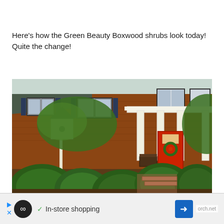Here's how the Green Beauty Boxwood shrubs look today! Quite the change!
[Figure (photo): Photograph of the front exterior of a brick colonial-style house with lush green boxwood shrubs in the foreground, white columns flanking a red front door with a wreath, dark shutters on windows, a white birdhouse on a post to the left, and trees in the background.]
In-store shopping